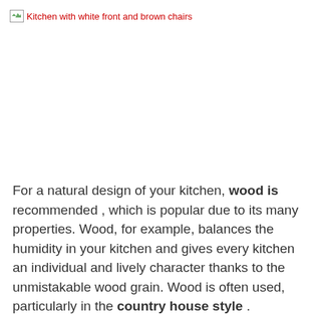[Figure (photo): Broken image placeholder with alt text: Kitchen with white front and brown chairs]
For a natural design of your kitchen, wood is recommended , which is popular due to its many properties. Wood, for example, balances the humidity in your kitchen and gives every kitchen an individual and lively character thanks to the unmistakable wood grain. Wood is often used, particularly in the country house style .